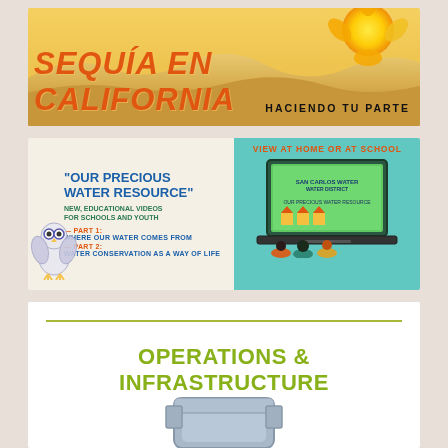[Figure (infographic): Banner with desert sand dunes background, orange sun illustration, text 'SEQUÍA EN CALIFORNIA' in orange italic bold, and 'HACIENDO TU PARTE' in dark bold below]
[Figure (infographic): Educational video promo: left side cream background with owl mascot, text 'OUR PRECIOUS WATER RESOURCE' educational videos for schools and youth, Part 1 and Part 2 listings; right side teal background with children watching a laptop screen showing water resource content, 'VIEW AT HOME OR AT SCHOOL' header]
OPERATIONS & INFRASTRUCTURE
[Figure (illustration): Partial illustration of a blue/grey pipe or infrastructure element at bottom of page]